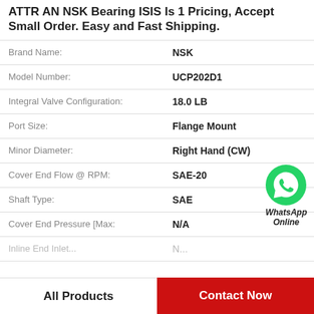ATTR AN NSK Bearing ISIS Is 1 Pricing, Accept Small Order. Easy and Fast Shipping.
| Property | Value |
| --- | --- |
| Brand Name: | NSK |
| Model Number: | UCP202D1 |
| Integral Valve Configuration: | 18.0 LB |
| Port Size: | Flange Mount |
| Minor Diameter: | Right Hand (CW) |
| Cover End Flow @ RPM: | SAE-20 |
| Shaft Type: | SAE |
| Cover End Pressure [Max: | N/A |
[Figure (logo): WhatsApp Online green circle icon with phone handset, labeled WhatsApp Online]
All Products
Contact Now